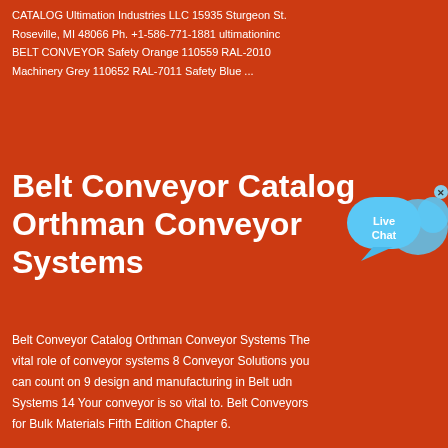CATALOG Ultimation Industries LLC 15935 Sturgeon St. Roseville, MI 48066 Ph. +1-586-771-1881 ultimationinc BELT CONVEYOR Safety Orange 110559 RAL-2010 Machinery Grey 110652 RAL-7011 Safety Blue ...
Belt Conveyor Catalog Orthman Conveyor Systems
[Figure (illustration): Live Chat button with speech bubble icon and close X button in blue tones]
Belt Conveyor Catalog Orthman Conveyor Systems The vital role of conveyor systems 8 Conveyor Solutions you can count on 9 design and manufacturing in Belt udn Systems 14 Your conveyor is so vital to. Belt Conveyors for Bulk Materials Fifth Edition Chapter 6.